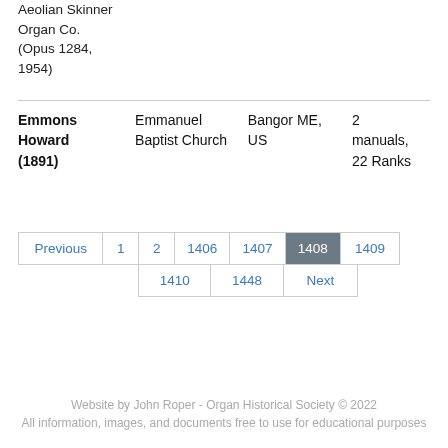Aeolian Skinner Organ Co. (Opus 1284, 1954)
| Name | Church | Location | Specs |
| --- | --- | --- | --- |
| Emmons Howard (1891) | Emmanuel Baptist Church | Bangor ME, US | 2 manuals, 22 Ranks |
| Previous | 1 | 2 | 1406 | 1407 | 1408 | 1409 |
|  | 1410 | 1448 | Next |  |  |  |
Website by John Roper - Organ Historical Society © 2022
All information, images, and documents free to use for educational purposes